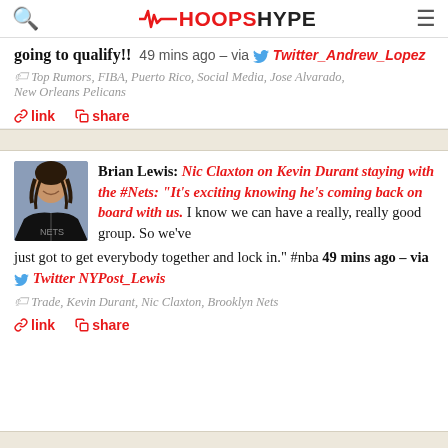HOOPSHYPE
going to qualify!!  49 mins ago – via  Twitter_Andrew_Lopez
Top Rumors, FIBA, Puerto Rico, Social Media, Jose Alvarado, New Orleans Pelicans
link  share
Brian Lewis: Nic Claxton on Kevin Durant staying with the #Nets: "It's exciting knowing he's coming back on board with us. I know we can have a really, really good group. So we've just got to get everybody together and lock in." #nba 49 mins ago – via  Twitter NYPost_Lewis
[Figure (photo): Photo of a basketball player in a Brooklyn Nets jersey]
Trade, Kevin Durant, Nic Claxton, Brooklyn Nets
link  share